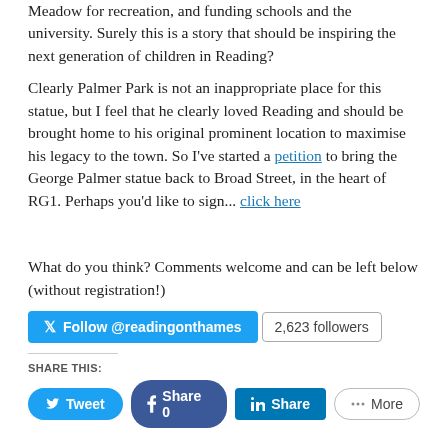Meadow for recreation, and funding schools and the university.  Surely this is a story that should be inspiring the next generation of children in Reading?
Clearly Palmer Park is not an inappropriate place for this statue, but I feel that he clearly loved Reading and should be brought home to his original prominent location to maximise his legacy to the town.  So I've started a petition to bring the George Palmer statue back to Broad Street, in the heart of RG1.  Perhaps you'd like to sign... click here
What do you think?  Comments welcome and can be left below (without registration!)
[Figure (other): Twitter Follow button showing @readingonthames with 2,623 followers count]
SHARE THIS:
[Figure (other): Social share buttons: Tweet, Share 0 (Facebook), Share (LinkedIn), More]